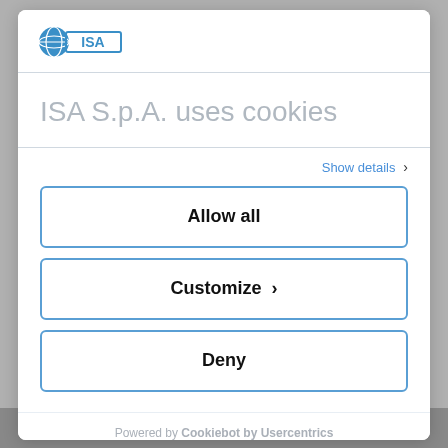[Figure (logo): ISA logo — blue circle/globe icon with ISA text in a rectangular frame]
ISA S.p.A. uses cookies
Show details ›
Allow all
Customize ›
Deny
Powered by Cookiebot by Usercentrics